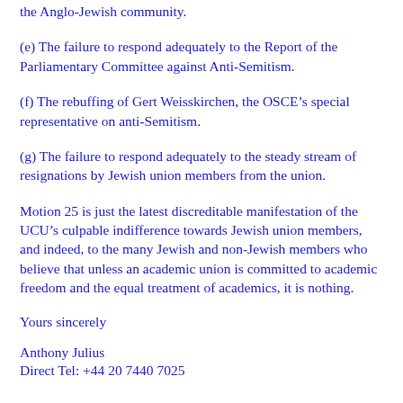the Anglo-Jewish community.
(e) The failure to respond adequately to the Report of the Parliamentary Committee against Anti-Semitism.
(f) The rebuffing of Gert Weisskirchen, the OSCE's special representative on anti-Semitism.
(g) The failure to respond adequately to the steady stream of resignations by Jewish union members from the union.
Motion 25 is just the latest discreditable manifestation of the UCU's culpable indifference towards Jewish union members, and indeed, to the many Jewish and non-Jewish members who believe that unless an academic union is committed to academic freedom and the equal treatment of academics, it is nothing.
Yours sincerely
Anthony Julius
Direct Tel: +44 20 7440 7025